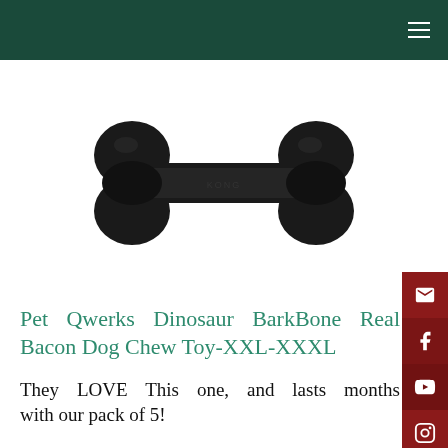[Figure (photo): Black rubber dog bone chew toy - Pet Qwerks Dinosaur BarkBone, photographed on white background]
Pet Qwerks Dinosaur BarkBone Real Bacon Dog Chew Toy-XXL-XXXL
They LOVE This one, and lasts months with our pack of 5!